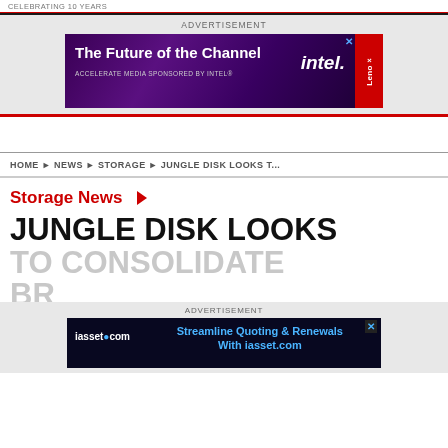CELEBRATING 10 YEARS
ADVERTISEMENT
[Figure (infographic): Intel / Lenovo advertisement banner: 'The Future of the Channel - ACCELERATE MEDIA SPONSORED BY INTEL®' with Intel and Lenovo logos on purple/dark background]
HOME ▶ NEWS ▶ STORAGE ▶ JUNGLE DISK LOOKS T...
Storage News ▶
JUNGLE DISK LOOKS TO CONSOLIDATE BR... EL...BRAND OVER...
ADVERTISEMENT
[Figure (infographic): iasset.com advertisement: 'Streamline Quoting & Renewals With iasset.com' on dark background]